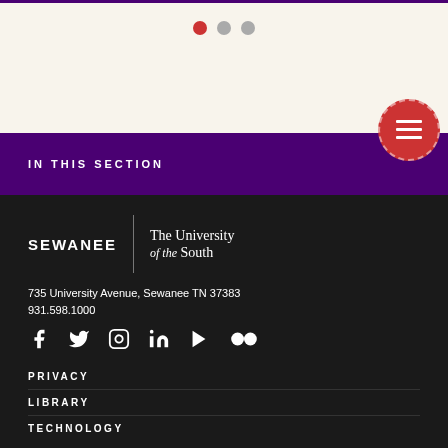[Figure (other): Carousel navigation dots — one active red dot and two inactive grey dots]
[Figure (other): Red circular menu button with hamburger icon and dashed border]
IN THIS SECTION
[Figure (logo): Sewanee: The University of the South logo — SEWANEE in white bold caps, a vertical divider, then 'The University of the South' in serif font]
735 University Avenue, Sewanee TN 37383
931.598.1000
[Figure (other): Social media icons row: Facebook, Twitter, Instagram, LinkedIn, YouTube, Flickr]
PRIVACY
LIBRARY
TECHNOLOGY